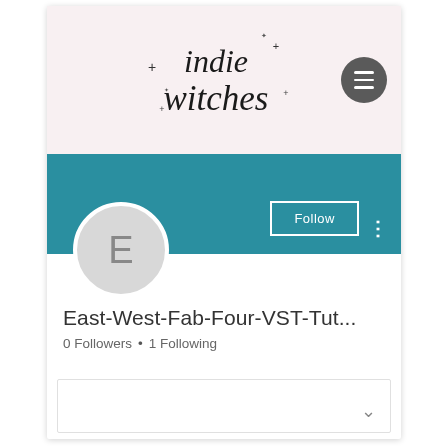[Figure (logo): Indie Witches logo — cursive handwritten text 'indie witches' with small star/cross decorations on a pale pink background, with a dark grey circular hamburger menu button on the right]
[Figure (screenshot): Teal/dark cyan profile banner with a Follow button (white border, white text) and a vertical three-dot menu icon on the right]
[Figure (illustration): Circular avatar placeholder with light grey background and capital letter E in grey]
East-West-Fab-Four-VST-Tut...
0 Followers • 1 Following
[Figure (other): Empty white bio/description box with a downward chevron arrow on the right side]